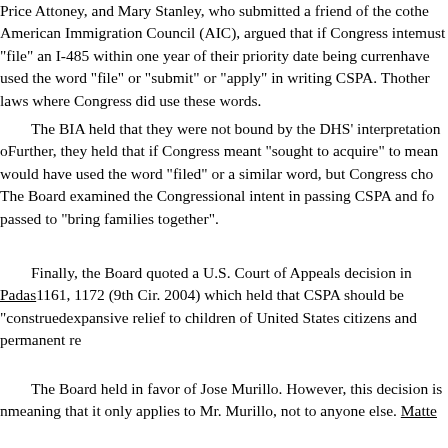Price Attoney, and Mary Stanley, who submitted a friend of the court brief on behalf of the American Immigration Council (AIC), argued that if Congress intended that aliens must "file" an I-485 within one year of their priority date being current, Congress would have used the word "file" or "submit" or "apply" in writing CSPA. They pointed to other laws where Congress did use these words.
The BIA held that they were not bound by the DHS' interpretation of the statute. Further, they held that if Congress meant "sought to acquire" to mean "filed", Congress would have used the word "filed" or a similar word, but Congress chose not to do so. The Board examined the Congressional intent in passing CSPA and found that CSPA was passed to "bring families together".
Finally, the Board quoted a U.S. Court of Appeals decision in Padas 1161, 1172 (9th Cir. 2004) which held that CSPA should be "construed" expansive relief to children of United States citizens and permanent re
The Board held in favor of Jose Murillo. However, this decision is meaning that it only applies to Mr. Murillo, not to anyone else. Matte